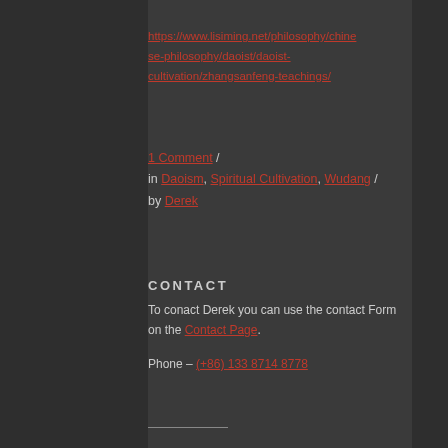https://www.lisiming.net/philosophy/chinese-philosophy/daoist/daoist-cultivation/zhangsanfeng-teachings/
1 Comment / in Daoism, Spiritual Cultivation, Wudang / by Derek
CONTACT
To conact Derek you can use the contact Form on the Contact Page.
Phone – (+86) 133 8714 8778